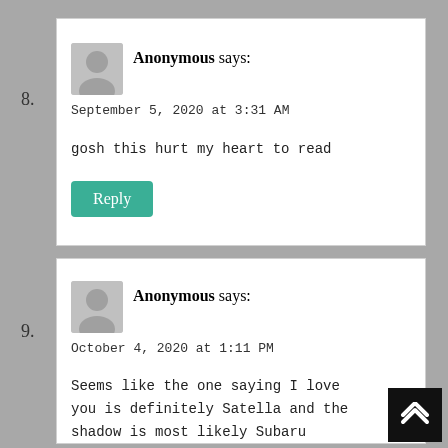8. Anonymous says: September 5, 2020 at 3:31 AM — gosh this hurt my heart to read
9. Anonymous says: October 4, 2020 at 1:11 PM — Seems like the one saying I love you is definitely Satella and the shadow is most likely Subaru